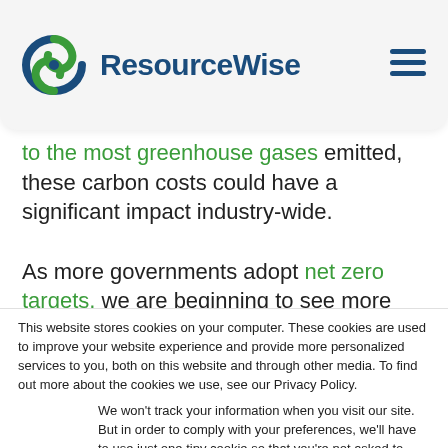[Figure (logo): ResourceWise logo with circular green and blue swirl icon, and 'ResourceWise' brand name in dark blue bold text]
to the most greenhouse gases emitted, these carbon costs could have a significant impact industry-wide.
As more governments adopt net zero targets, we are beginning to see more announcements and implementations
This website stores cookies on your computer. These cookies are used to improve your website experience and provide more personalized services to you, both on this website and through other media. To find out more about the cookies we use, see our Privacy Policy.
We won't track your information when you visit our site. But in order to comply with your preferences, we'll have to use just one tiny cookie so that you're not asked to make this choice again.